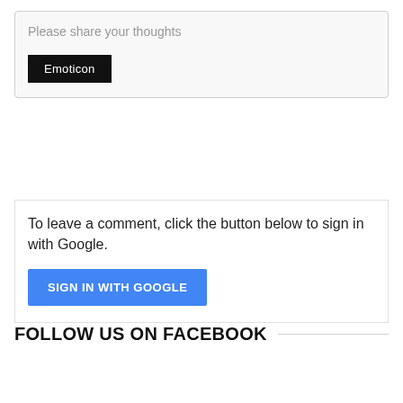Please share your thoughts
[Figure (screenshot): Comment input area with placeholder text 'Please share your thoughts' and an 'Emoticon' button]
To leave a comment, click the button below to sign in with Google.
[Figure (screenshot): Blue 'SIGN IN WITH GOOGLE' button]
FOLLOW US ON FACEBOOK